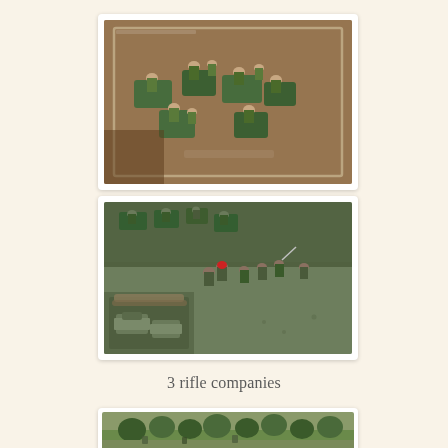[Figure (photo): Close-up photo of painted miniature soldier figurines on green bases arranged on a wooden/glass surface, viewed from above at an angle. Figures appear to be WWII-era infantry in olive/green colors.]
[Figure (photo): Photo of painted miniature soldier figurines on a wargaming table, showing more figures including infantry in darker green colors with some red details, arranged in a battle scene on a terrain board.]
3 rifle companies
[Figure (photo): Partial photo at bottom of page showing painted miniature soldiers on a green terrain board with trees/foliage visible.]